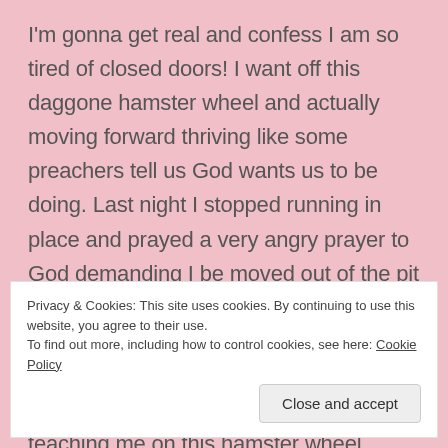I'm gonna get real and confess I am so tired of closed doors! I want off this daggone hamster wheel and actually moving forward thriving like some preachers tell us God wants us to be doing. Last night I stopped running in place and prayed a very angry prayer to God demanding I be moved out of the pit and into the promotion in life I long for. I pulled out all the stops too. I reminded Him of how faithful I've been and how hard I've worked to learn the lessons He's teaching me on this hamster wheel journey. I also reminded Him of how old I was and that I wasn't getting any younger so this whole
Privacy & Cookies: This site uses cookies. By continuing to use this website, you agree to their use.
To find out more, including how to control cookies, see here: Cookie Policy
Close and accept